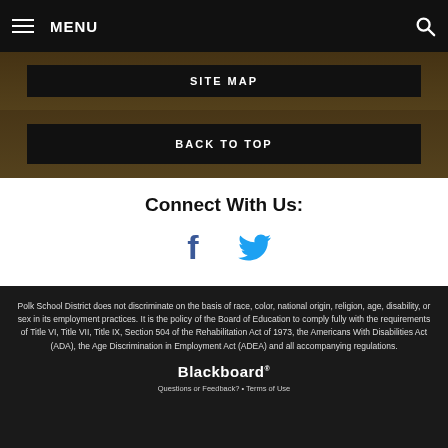MENU
SITE MAP
BACK TO TOP
Connect With Us:
[Figure (illustration): Facebook and Twitter social media icons]
Polk School District does not discriminate on the basis of race, color, national origin, religion, age, disability, or sex in its employment practices. It is the policy of the Board of Education to comply fully with the requirements of Title VI, Title VII, Title IX, Section 504 of the Rehabilitation Act of 1973, the Americans With Disabilities Act (ADA), the Age Discrimination in Employment Act (ADEA) and all accompanying regulations.
Blackboard
Questions or Feedback? • Terms of Use